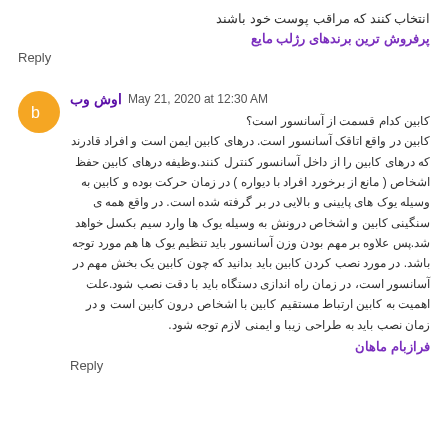انتخاب کنند که مراقب پوست خود باشند
پرفروش ترین برندهای رژلب مایع
Reply
اوش وب  May 21, 2020 at 12:30 AM
کابین کدام قسمت از آسانسور است؟ کابین در واقع اتاقک آسانسور است. درهای کابین ایمن است و افراد قادرند که درهای کابین را از داخل آسانسور کنترل کنند.وظیفه درهای کابین حفظ اشخاص ( مانع از برخورد افراد با دیواره ) در زمان حرکت بوده و کابین به وسیله یوک های پایینی و بالایی در بر گرفته شده است. در واقع همه ی سنگینی کابین و اشخاص درونش به وسیله یوک ها وارد سیم بکسل خواهد شد.پس علاوه بر مهم بودن وزن آسانسور باید تنظیم یوک ها هم مورد توجه باشد. در مورد نصب کردن کابین باید بدانید که چون کابین یک بخش مهم در آسانسور است، در زمان راه اندازی دستگاه باید با دقت نصب شود.علت اهمیت به کابین ارتباط مستقیم کابین با اشخاص درون کابین است و در زمان نصب باید به طراحی زیبا و ایمنی لازم توجه شود.
فرازبام ماهان
Reply